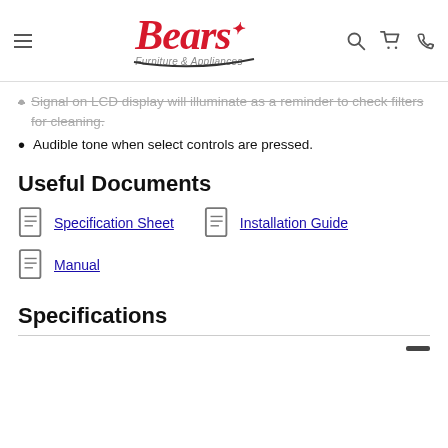Bears Furniture & Appliances — navigation bar with hamburger menu, logo, search, cart, phone icons
Signal on LCD display will illuminate as a reminder to check filters for cleaning.
Audible tone when select controls are pressed.
Useful Documents
Specification Sheet
Installation Guide
Manual
Specifications